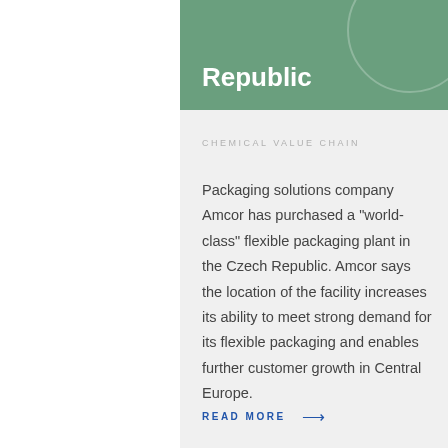Republic
CHEMICAL VALUE CHAIN
Packaging solutions company Amcor has purchased a "world-class" flexible packaging plant in the Czech Republic. Amcor says the location of the facility increases its ability to meet strong demand for its flexible packaging and enables further customer growth in Central Europe.
READ MORE →